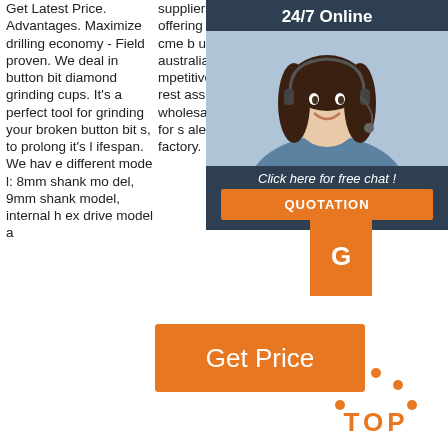Get Latest Price. Advantages. Maximize drilling economy - Field proven. We deal in button bit diamond grinding cups. It's a perfect tool for grinding your broken button bits, to prolong it's lifespan. We have different model: 8mm shank model, 9mm shank model, internal hex drive model a
suppliers here. We're offering high quality cme button bit grinder australia with competitive price, please rest assured to wholesale bulk products for sale here from our factory.
one place. For best results in cementing processes, purchase but ton nly con
[Figure (photo): Customer service representative woman with headset, smiling, in dark blue overlay box with 24/7 Online header, Click here for free chat text, and QUOTATION orange button]
[Figure (other): Orange G button]
[Figure (other): Orange Get Price button]
[Figure (other): TOP icon with orange dots and text]